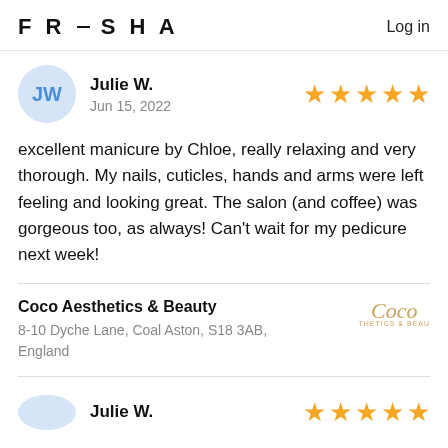FRESHA  Log in
JW
Julie W.
Jun 15, 2022
[Figure (other): 5 gold stars rating]
excellent manicure by Chloe, really relaxing and very thorough. My nails, cuticles, hands and arms were left feeling and looking great. The salon (and coffee) was gorgeous too, as always! Can't wait for my pedicure next week!
Coco Aesthetics & Beauty
8-10 Dyche Lane, Coal Aston, S18 3AB, England
[Figure (logo): Coco Aesthetics & Beauty logo in gold script]
Julie W.
[Figure (other): 5 gold stars rating (partial, bottom of page)]